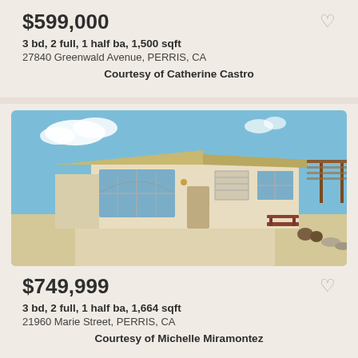$599,000
3 bd, 2 full, 1 half ba, 1,500 sqft
27840 Greenwald Avenue, PERRIS, CA
Courtesy of Catherine Castro
[Figure (photo): Single-story beige stucco home with large arched window, green hedge in front, red bench near entrance, pergola on right, blue sky with clouds]
$749,999
3 bd, 2 full, 1 half ba, 1,664 sqft
21960 Marie Street, PERRIS, CA
Courtesy of Michelle Miramontez